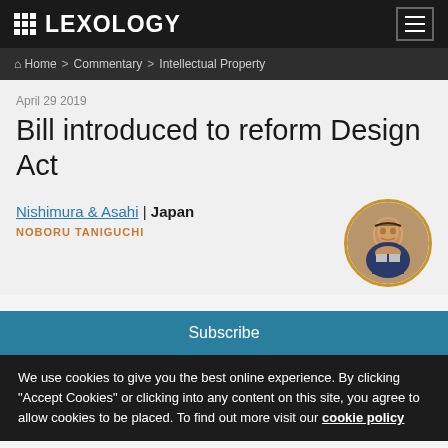LEXOLOGY
Home > Commentary > Intellectual Property
April 29 2019
Bill introduced to reform Design Act
Nishimura & Asahi | Japan
NOBORU TANIGUCHI
Subscribe
We use cookies to give you the best online experience. By clicking "Accept Cookies" or clicking into any content on this site, you agree to allow cookies to be placed. To find out more visit our cookie policy